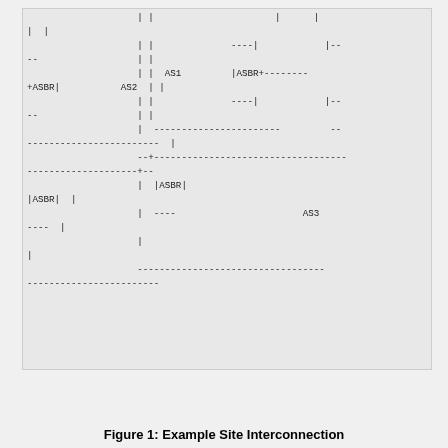[Figure (network-graph): ASCII art diagram showing example site interconnection between AS1, AS2, AS3 with ASBR routers connected by dashed lines representing network links]
Figure 1: Example Site Interconnection